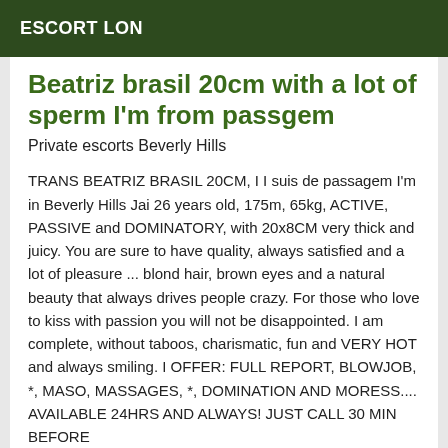ESCORT LON
Beatriz brasil 20cm with a lot of sperm I'm from passgem
Private escorts Beverly Hills
TRANS BEATRIZ BRASIL 20CM, I I suis de passagem I'm in Beverly Hills Jai 26 years old, 175m, 65kg, ACTIVE, PASSIVE and DOMINATORY, with 20x8CM very thick and juicy. You are sure to have quality, always satisfied and a lot of pleasure ... blond hair, brown eyes and a natural beauty that always drives people crazy. For those who love to kiss with passion you will not be disappointed. I am complete, without taboos, charismatic, fun and VERY HOT and always smiling. I OFFER: FULL REPORT, BLOWJOB, *, MASO, MASSAGES, *, DOMINATION AND MORESS.... AVAILABLE 24HRS AND ALWAYS! JUST CALL 30 MIN BEFORE